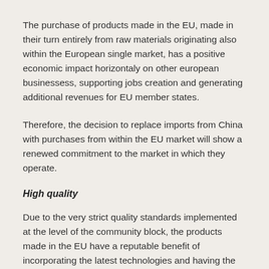The purchase of products made in the EU, made in their turn entirely from raw materials originating also within the European single market, has a positive economic impact horizontaly on other european businessess, supporting jobs creation and generating additional revenues for EU member states.
Therefore, the decision to replace imports from China with purchases from within the EU market will show a renewed commitment to the market in which they operate.
High quality
Due to the very strict quality standards implemented at the level of the community block, the products made in the EU have a reputable benefit of incorporating the latest technologies and having the highest quality